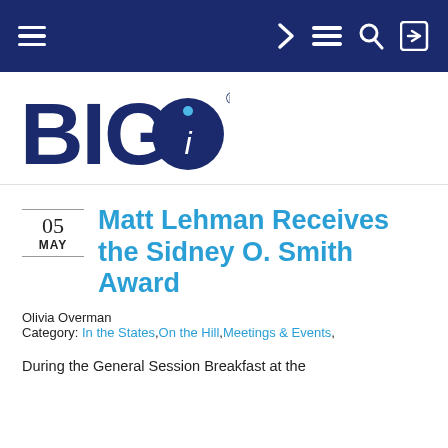BIG i navigation bar
[Figure (logo): BIG i logo — dark navy blue text 'BIG' with a circle containing a lowercase 'i' with a blue dot, followed by a registered trademark symbol]
Matt Lehman Receives the Sidney O. Smith Award
05 MAY
Olivia Overman
Category: In the States, On the Hill, Meetings & Events,
During the General Session Breakfast at the